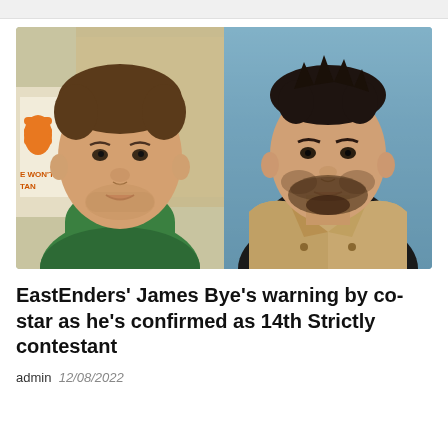[Figure (photo): Two side-by-side photos. Left: a man with light stubble and brown hair wearing a green t-shirt, standing in front of a building with an orange charity sign visible. Right: a man with dark styled hair and beard wearing a black t-shirt under a tan/beige sherpa-collar jacket, standing in front of a blue background.]
EastEnders' James Bye's warning by co-star as he's confirmed as 14th Strictly contestant
admin 12/08/2022